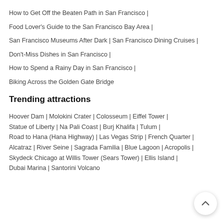How to Get Off the Beaten Path in San Francisco |
Food Lover's Guide to the San Francisco Bay Area |
San Francisco Museums After Dark | San Francisco Dining Cruises |
Don't-Miss Dishes in San Francisco |
How to Spend a Rainy Day in San Francisco |
Biking Across the Golden Gate Bridge
Trending attractions
Hoover Dam | Molokini Crater | Colosseum | Eiffel Tower | Statue of Liberty | Na Pali Coast | Burj Khalifa | Tulum | Road to Hana (Hana Highway) | Las Vegas Strip | French Quarter | Alcatraz | River Seine | Sagrada Familia | Blue Lagoon | Acropolis | Skydeck Chicago at Willis Tower (Sears Tower) | Ellis Island | Dubai Marina | Santorini Volcano